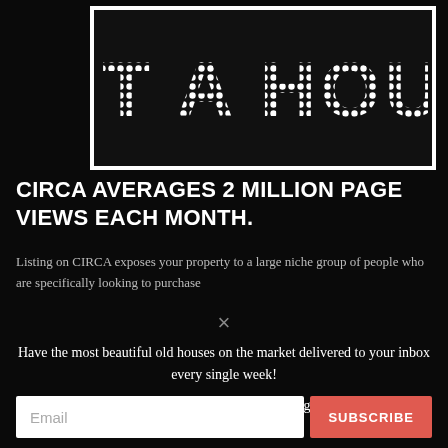[Figure (illustration): Marquee sign style box with dotted/perforated white text reading 'LIST A HOUSE' on a dark background with a white border]
CIRCA AVERAGES 2 MILLION PAGE VIEWS EACH MONTH.
Listing on CIRCA exposes your property to a large niche group of people who are specifically looking to purchase
×
Have the most beautiful old houses on the market delivered to your inbox every single week!
Enter your email below to receive our latest listings, featured favorites and more 🔔!
Email  SUBSCRIBE